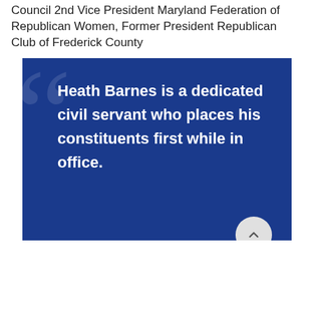Council 2nd Vice President Maryland Federation of Republican Women, Former President Republican Club of Frederick County
[Figure (other): Dark blue quote box with large decorative quotation mark in background. White bold text reads: 'Heath Barnes is a dedicated civil servant who places his constituents first while in office.' A light grey circular scroll-up button with a chevron arrow appears at the bottom right corner of the box.]